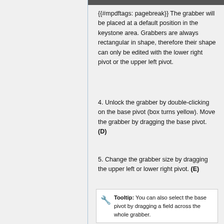{{#mpdftags: pagebreak}} The grabber will be placed at a default position in the keystone area. Grabbers are always rectangular in shape, therefore their shape can only be edited with the lower right pivot or the upper left pivot.
4. Unlock the grabber by double-clicking on the base pivot (box turns yellow). Move the grabber by dragging the base pivot. (D)
5. Change the grabber size by dragging the upper left or lower right pivot. (E)
Tooltip: You can also select the base pivot by dragging a field across the whole grabber.